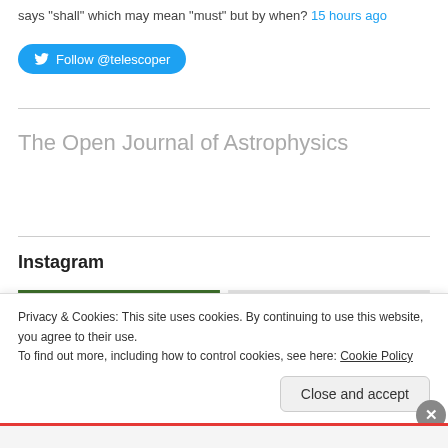says "shall" which may mean "must" but by when? 15 hours ago
[Figure (other): Twitter Follow @telescoper button (blue pill-shaped button with Twitter bird icon)]
The Open Journal of Astrophysics
Instagram
[Figure (photo): Two Instagram photos side by side: left shows green grass/plants, right shows a green rectangular object against light grey background with a vertical line/pole]
Privacy & Cookies: This site uses cookies. By continuing to use this website, you agree to their use.
To find out more, including how to control cookies, see here: Cookie Policy
Close and accept